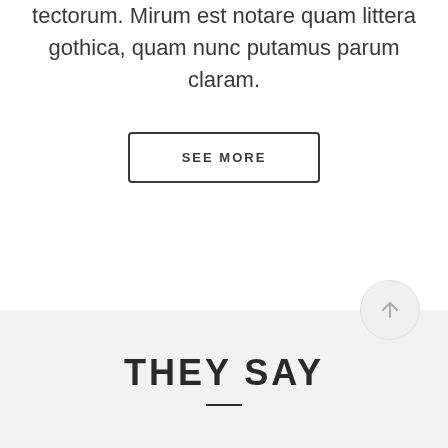tectorum. Mirum est notare quam littera gothica, quam nunc putamus parum claram.
SEE MORE
THEY SAY